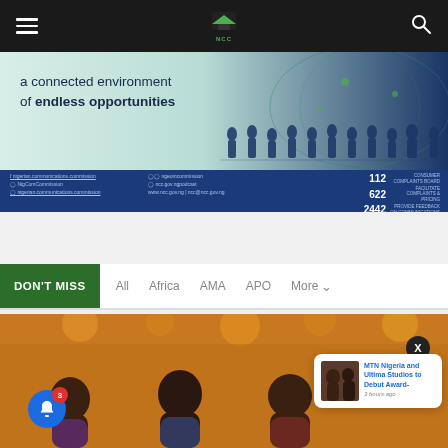NCC website navigation bar with hamburger menu, NCC logo, and search icon
[Figure (infographic): NCC banner advertisement: 'a connected environment of endless opportunities' with silhouettes of people on a world map background, and social media/contact details footer bar]
DON'T MISS  All  Africa  AMA  APO  More
[Figure (photo): News section photo showing group of people at an event with orange background. Notification popup showing 'MTN Nigeria and Ultima Studios to Debut Award-' with timestamp '3 hours ago'. Blue bell notification button with red badge showing '3'.]